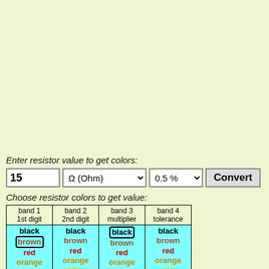Enter resistor value to get colors:
15  Ω (Ohm)  0.5 %  Convert
Choose resistor colors to get value:
| band 1
1st digit | band 2
2nd digit | band 3
multiplier | band 4
tolerance |
| --- | --- | --- | --- |
| black | black | black | black |
| brown (selected) | brown | brown | brown |
| red | red | red | red |
| orange | orange | orange | orange |
| yellow | yellow | yellow (selected in col3) | yellow |
| green | green (selected) | green | green (selected) |
| blue | blue | blue | blue |